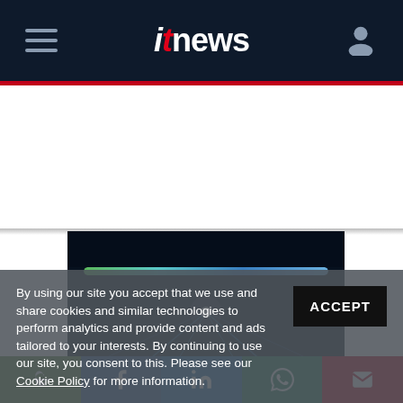itnews
[Figure (screenshot): Dark tech hero image with glowing blue lines and progress bar, text 'Get Your' visible]
By using our site you accept that we use and share cookies and similar technologies to perform analytics and provide content and ads tailored to your interests. By continuing to use our site, you consent to this. Please see our Cookie Policy for more information.